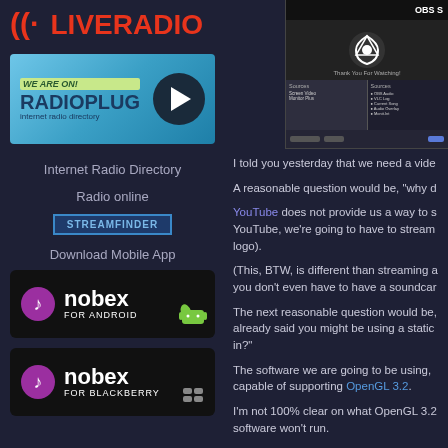LIVERADIO
[Figure (logo): RadioPlug internet radio directory banner with play button]
Internet Radio Directory
Radio online
[Figure (logo): Streamfinder button]
Download Mobile App
[Figure (logo): Nobex for Android app banner]
[Figure (logo): Nobex for BlackBerry app banner]
[Figure (screenshot): OBS Studio screenshot showing Thank You For Watching screen with sources and scenes panels]
I told you yesterday that we need a vide
A reasonable question would be, "why d
YouTube does not provide us a way to s YouTube, we're going to have to stream logo).
(This, BTW, is different than streaming a you don't even have to have a soundcar
The next reasonable question would be, already said you might be using a static in?"
The software we are going to be using, capable of supporting OpenGL 3.2.
I'm not 100% clear on what OpenGL 3.2 software won't run.